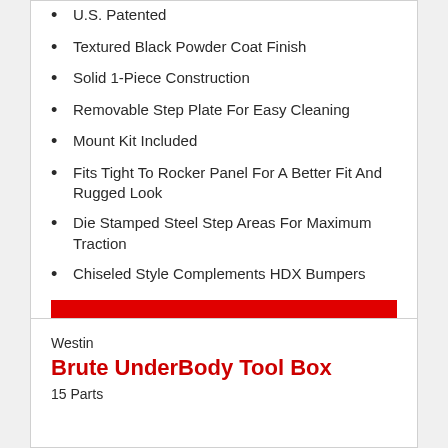U.S. Patented
Textured Black Powder Coat Finish
Solid 1-Piece Construction
Removable Step Plate For Easy Cleaning
Mount Kit Included
Fits Tight To Rocker Panel For A Better Fit And Rugged Look
Die Stamped Steel Step Areas For Maximum Traction
Chiseled Style Complements HDX Bumpers
SEE ALL
Westin
Brute UnderBody Tool Box
15 Parts